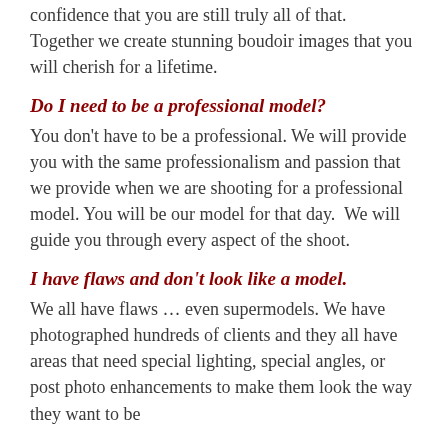confidence that you are still truly all of that.  Together we create stunning boudoir images that you will cherish for a lifetime.
Do I need to be a professional model?
You don't have to be a professional. We will provide you with the same professionalism and passion that we provide when we are shooting for a professional model. You will be our model for that day.  We will guide you through every aspect of the shoot.
I have flaws and don't look like a model.
We all have flaws … even supermodels. We have photographed hundreds of clients and they all have areas that need special lighting, special angles, or post photo enhancements to make them look the way they want to be...